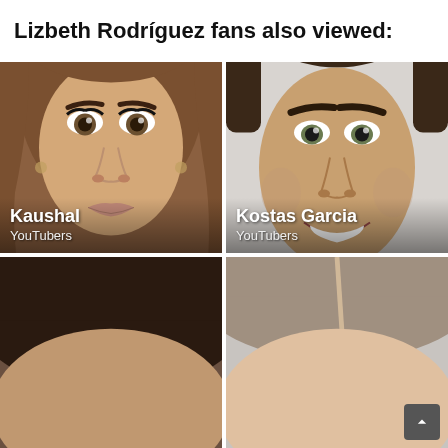Lizbeth Rodríguez fans also viewed:
[Figure (photo): Close-up photo of a young woman with long dark hair, heavy eye makeup, and light pink lipstick. Name label: Kaushal. Category: YouTubers.]
[Figure (photo): Photo of a young man with styled dark hair, smiling with white teeth, wearing a grey shirt. Name label: Kostas Garcia. Category: YouTubers.]
[Figure (photo): Partial photo of a person with dark hair, cropped — only top of head visible.]
[Figure (photo): Partial photo of a person with light-colored hair, cropped — only top of head visible.]